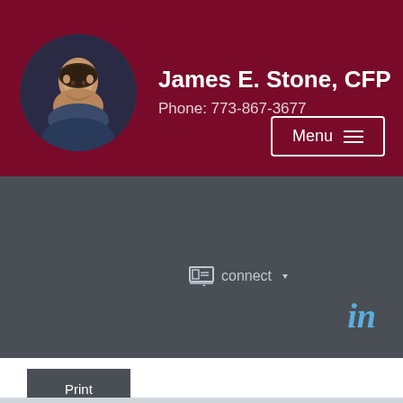[Figure (photo): Circular profile photo of James E. Stone, a man in professional attire]
James E. Stone, CFP
Phone: 773-867-3677
Menu
connect
in
Print